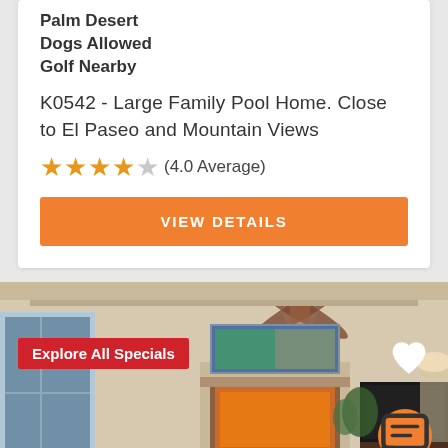Palm Desert
Dogs Allowed
Golf Nearby
K0542 - Large Family Pool Home. Close to El Paseo and Mountain Views
★★★★☆ (4.0 Average)
VIEW DETAILS
[Figure (photo): Interior living room photo of a vacation rental home with ceiling fan, fireplace, TV, and artwork on the wall. Overlaid with 'Explore All Specials' red badge and a heart icon. Orange chat button in lower right.]